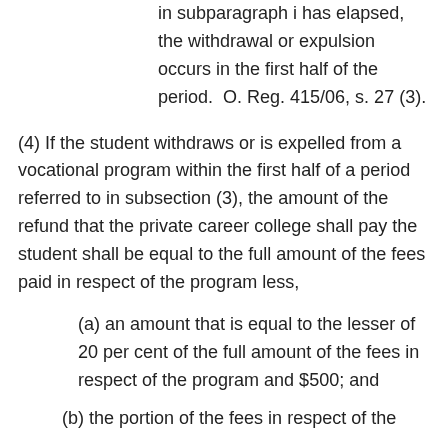in subparagraph i has elapsed, the withdrawal or expulsion occurs in the first half of the period.  O. Reg. 415/06, s. 27 (3).
(4) If the student withdraws or is expelled from a vocational program within the first half of a period referred to in subsection (3), the amount of the refund that the private career college shall pay the student shall be equal to the full amount of the fees paid in respect of the program less,
(a) an amount that is equal to the lesser of 20 per cent of the full amount of the fees in respect of the program and $500; and
(b) the portion of the fees in respect of the